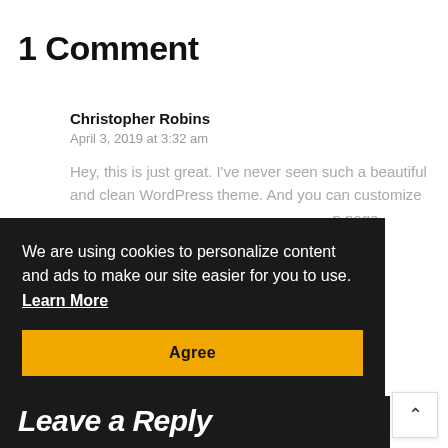1 Comment
Christopher Robins
April 3, 2019 at 3:32 am
Hey, this is just great. I've never seen such a beautiful and clean WordPress theme. And you can customize it with all content and develop p page
We are using cookies to personalize content and ads to make our site easier for you to use.  Learn More
Agree
Leave a Reply